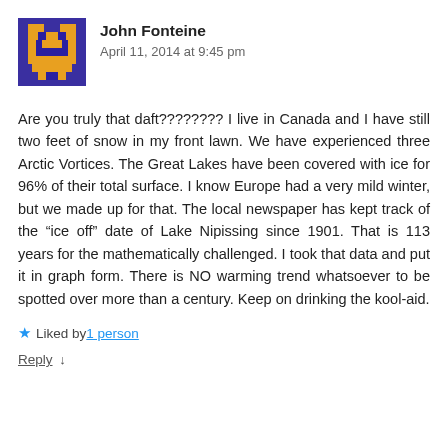[Figure (illustration): Pixel art avatar with purple/navy background and orange pixel character]
John Fonteine
April 11, 2014 at 9:45 pm
Are you truly that daft???????? I live in Canada and I have still two feet of snow in my front lawn. We have experienced three Arctic Vortices. The Great Lakes have been covered with ice for 96% of their total surface. I know Europe had a very mild winter, but we made up for that. The local newspaper has kept track of the “ice off” date of Lake Nipissing since 1901. That is 113 years for the mathematically challenged. I took that data and put it in graph form. There is NO warming trend whatsoever to be spotted over more than a century. Keep on drinking the kool-aid.
Liked by 1 person
Reply